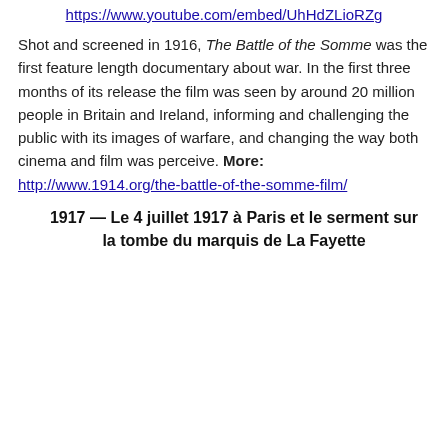https://www.youtube.com/embed/UhHdZLioRZg
Shot and screened in 1916, The Battle of the Somme was the first feature length documentary about war. In the first three months of its release the film was seen by around 20 million people in Britain and Ireland, informing and challenging the public with its images of warfare, and changing the way both cinema and film was perceive. More: http://www.1914.org/the-battle-of-the-somme-film/
1917 —  Le 4 juillet 1917 à Paris et le serment sur la tombe du marquis de La Fayette